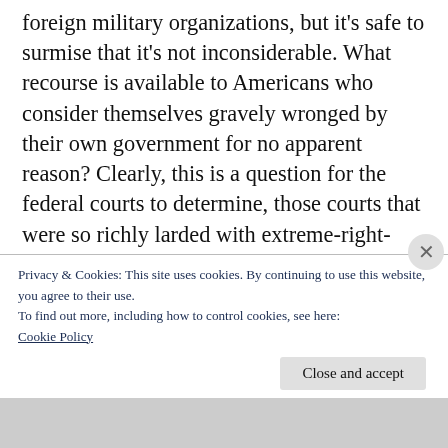foreign military organizations, but it's safe to surmise that it's not inconsiderable. What recourse is available to Americans who consider themselves gravely wronged by their own government for no apparent reason? Clearly, this is a question for the federal courts to determine, those courts that were so richly larded with extreme-right-wing judges under the Trump administration. Whatever the circumstances and impediments, this is a matter that bears serious study and maybe
Privacy & Cookies: This site uses cookies. By continuing to use this website, you agree to their use.
To find out more, including how to control cookies, see here:
Cookie Policy
Close and accept